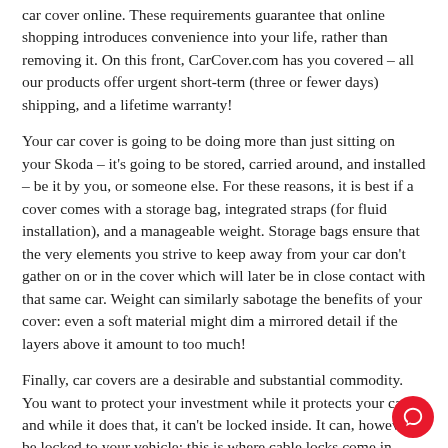car cover online. These requirements guarantee that online shopping introduces convenience into your life, rather than removing it. On this front, CarCover.com has you covered – all our products offer urgent short-term (three or fewer days) shipping, and a lifetime warranty!
Your car cover is going to be doing more than just sitting on your Skoda – it's going to be stored, carried around, and installed – be it by you, or someone else. For these reasons, it is best if a cover comes with a storage bag, integrated straps (for fluid installation), and a manageable weight. Storage bags ensure that the very elements you strive to keep away from your car don't gather on or in the cover which will later be in close contact with that same car. Weight can similarly sabotage the benefits of your cover: even a soft material might dim a mirrored detail if the layers above it amount to too much!
Finally, car covers are a desirable and substantial commodity. You want to protect your investment while it protects your car, and while it does that, it can't be locked inside. It can, however, be locked to your vehicle: this is where cable locks come in handy. All of CarCover.com's car covers come with a cable lock which threads through the cover and affixes it without hassle